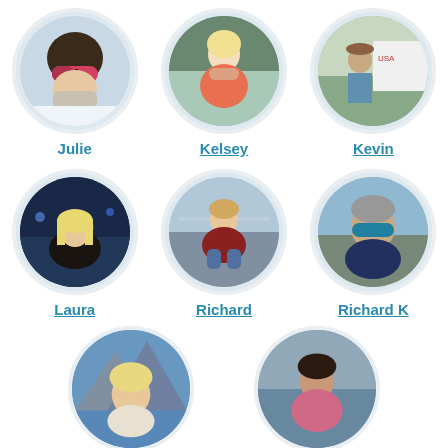[Figure (photo): Circular profile photo of Julie wearing ski helmet and goggles in snowy setting]
Julie
[Figure (photo): Circular profile photo of Kelsey in pink/orange jacket outdoors]
Kelsey
[Figure (photo): Circular profile photo of Kevin standing near RV in rural landscape]
Kevin
[Figure (photo): Circular profile photo of Laura at a sporting event arena]
Laura
[Figure (photo): Circular profile photo of Richard sitting on mountain overlook]
Richard
[Figure (photo): Circular profile photo of Richard K outdoors with sunglasses]
Richard K
[Figure (photo): Circular profile photo of person at mountain lake, partially visible]
[Figure (photo): Circular profile photo of person outdoors, partially visible]